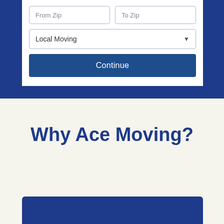[Figure (screenshot): Web form UI with two zip code input fields (From Zip, To Zip), a dropdown selector showing 'Local Moving', and a blue Continue button, on a dark blue background with a white card.]
Why Ace Moving?
[Figure (other): Blue rounded rectangle box at the bottom of the page, partially visible]